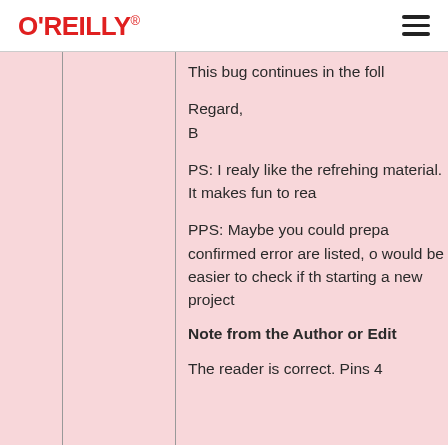O'REILLY
This bug continues in the foll
Regard,
B
PS: I realy like the refrehing material. It makes fun to rea
PPS: Maybe you could prepa confirmed error are listed, o would be easier to check if th starting a new project
Note from the Author or Edit
The reader is correct. Pins 4